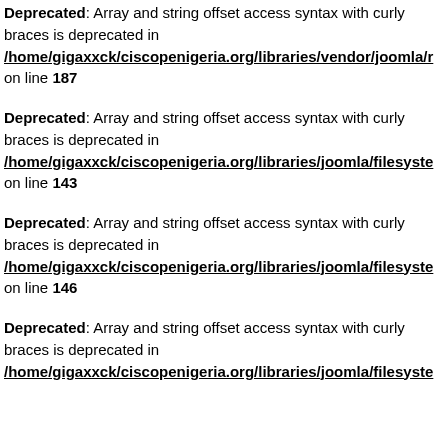Deprecated: Array and string offset access syntax with curly braces is deprecated in /home/gigaxxck/ciscopenigeria.org/libraries/vendor/joomla/r on line 187
Deprecated: Array and string offset access syntax with curly braces is deprecated in /home/gigaxxck/ciscopenigeria.org/libraries/joomla/filesyste on line 143
Deprecated: Array and string offset access syntax with curly braces is deprecated in /home/gigaxxck/ciscopenigeria.org/libraries/joomla/filesyste on line 146
Deprecated: Array and string offset access syntax with curly braces is deprecated in /home/gigaxxck/ciscopenigeria.org/libraries/joomla/filesyste